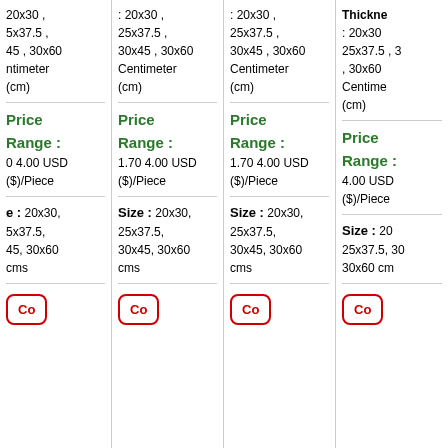| 20x30, 5x37.5, 45, 30x60 ntimeter (cm) | : 20x30, 25x37.5, 30x45, 30x60 Centimeter (cm) | : 20x30, 25x37.5, 30x45, 30x60 Centimeter (cm) | Thickness: 20x30, 25x37.5, 3, 30x60 Centimeter (cm) |
| Price Range: 0 4.00 USD ($)/Piece | Price Range: 1.70 4.00 USD ($)/Piece | Price Range: 1.70 4.00 USD ($)/Piece | Price Range: 4.00 USD ($)/Piece |
| e: 20x30, 5x37.5, 45, 30x60 cms | Size: 20x30, 25x37.5, 30x45, 30x60 cms | Size: 20x30, 25x37.5, 30x45, 30x60 cms | Size: 20x25x37.5, 30x30x60 cms |
| Contact | Contact | Contact | Contact |